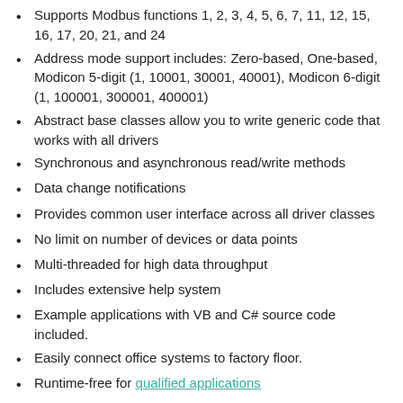Supports Modbus functions 1, 2, 3, 4, 5, 6, 7, 11, 12, 15, 16, 17, 20, 21, and 24
Address mode support includes: Zero-based, One-based, Modicon 5-digit (1, 10001, 30001, 40001), Modicon 6-digit (1, 100001, 300001, 400001)
Abstract base classes allow you to write generic code that works with all drivers
Synchronous and asynchronous read/write methods
Data change notifications
Provides common user interface across all driver classes
No limit on number of devices or data points
Multi-threaded for high data throughput
Includes extensive help system
Example applications with VB and C# source code included.
Easily connect office systems to factory floor.
Runtime-free for qualified applications
What's New in Version 1.3.0
Released 18 May